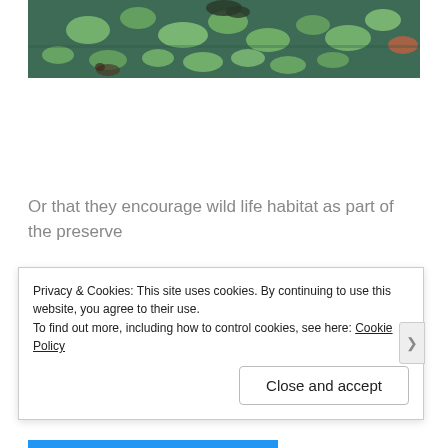[Figure (photo): Photograph of a pond or wetland with lily pads and green aquatic vegetation on water surface, showing wildlife habitat]
Or that they encourage wild life habitat as part of the preserve
[Figure (photo): Photograph of dense green shrubs and branches in a natural preserve area]
Privacy & Cookies: This site uses cookies. By continuing to use this website, you agree to their use.
To find out more, including how to control cookies, see here: Cookie Policy
Close and accept